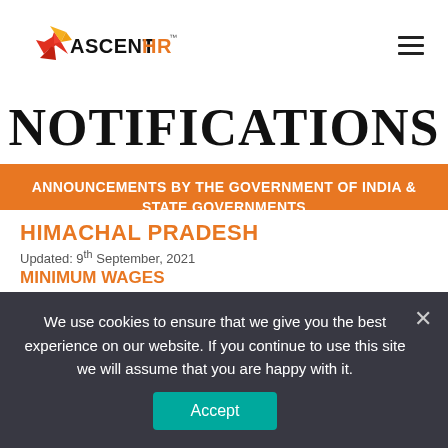AscentHR logo and navigation
NOTIFICATIONS
ANNOUNCEMENTS BY THE GOVERNMENT OF INDIA & STATE GOVERNMENTS
View by State
HIMACHAL PRADESH
Updated: 9th September, 2021
MINIMUM WAGES
We use cookies to ensure that we give you the best experience on our website. If you continue to use this site we will assume that you are happy with it.